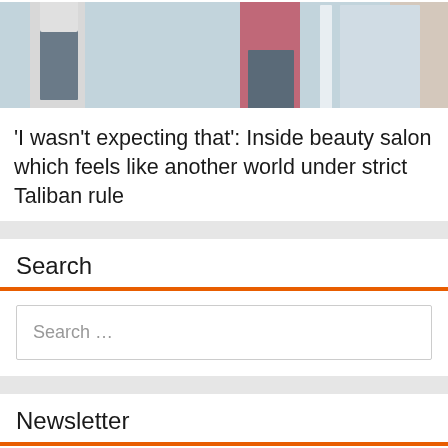[Figure (photo): Bottom portion of a photo showing people standing, partially cropped, with a light blue/gray background]
'I wasn't expecting that': Inside beauty salon which feels like another world under strict Taliban rule
Search
Search …
Newsletter